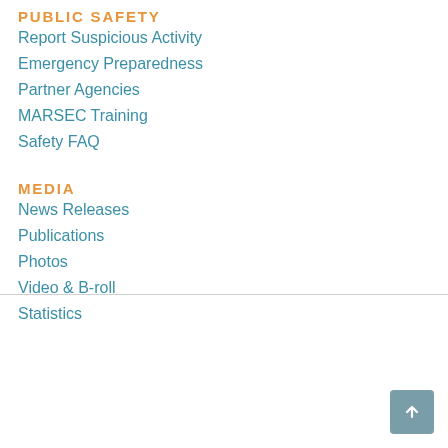PUBLIC SAFETY
Report Suspicious Activity
Emergency Preparedness
Partner Agencies
MARSEC Training
Safety FAQ
MEDIA
News Releases
Publications
Photos
Video & B-roll
Statistics